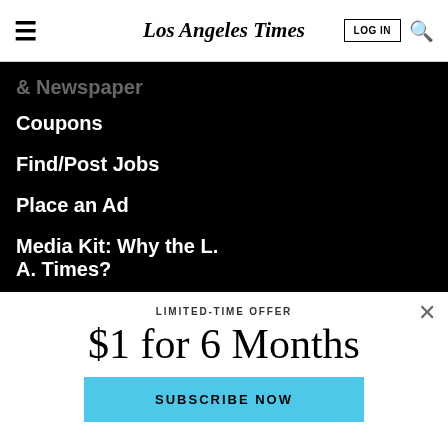Los Angeles Times
& Newspaper
Coupons
Find/Post Jobs
Place an Ad
Media Kit: Why the L. A. Times?
LIMITED-TIME OFFER
$1 for 6 Months
SUBSCRIBE NOW
By continuing to use our site, you agree to our Terms of Service and Privacy Policy. You can learn more about how we use cookies by reviewing our Privacy Policy. Close